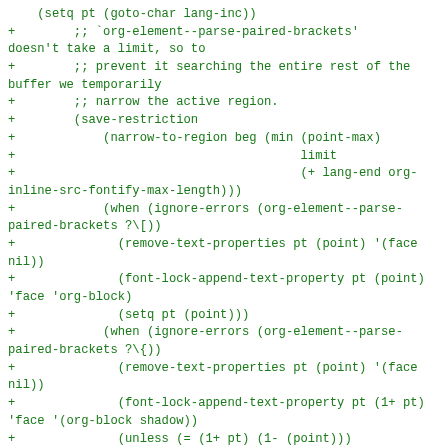(setq pt (goto-char lang-inc))
+        ;; `org-element--parse-paired-brackets' doesn't take a limit, so to
+        ;; prevent it searching the entire rest of the buffer we temporarily
+        ;; narrow the active region.
+        (save-restriction
+            (narrow-to-region beg (min (point-max)
+                                       limit
+                                       (+ lang-end org-inline-src-fontify-max-length)))
+            (when (ignore-errors (org-element--parse-paired-brackets ?\[))
+              (remove-text-properties pt (point) '(face nil))
+              (font-lock-append-text-property pt (point) 'face 'org-block)
+              (setq pt (point)))
+            (when (ignore-errors (org-element--parse-paired-brackets ?\{))
+              (remove-text-properties pt (point) '(face nil))
+              (font-lock-append-text-property pt (1+ pt) 'face '(org-block shadow))
+              (unless (= (1+ pt) (1- (point)))
+                (if org-src-fontify-natively
+                    (org-src-font-lock-fontify-block
+                      (buffer-substring-no-properties lang-beg lang-end)
+                      (1+ pt) (1- (point)))
+                  (font-lock-append-text-property (1+